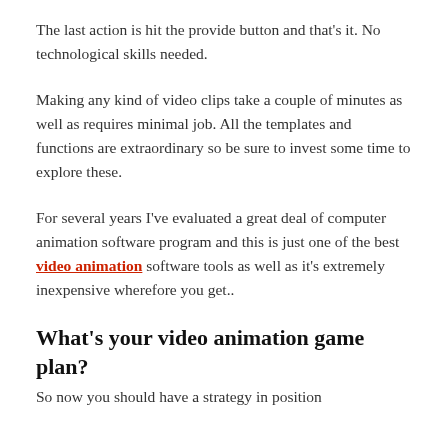The last action is hit the provide button and that's it. No technological skills needed.
Making any kind of video clips take a couple of minutes as well as requires minimal job. All the templates and functions are extraordinary so be sure to invest some time to explore these.
For several years I've evaluated a great deal of computer animation software program and this is just one of the best video animation software tools as well as it's extremely inexpensive wherefore you get..
What's your video animation game plan?
So now you should have a strategy in position